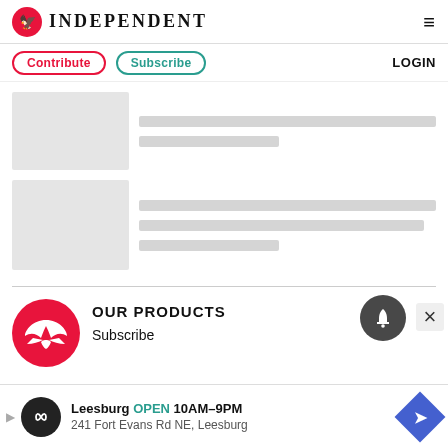INDEPENDENT
Contribute  Subscribe  LOGIN
[Figure (illustration): Skeleton loading card with grey image placeholder and two grey text lines]
[Figure (illustration): Skeleton loading card with grey image placeholder and three grey text lines]
[Figure (logo): Independent newspaper eagle logo in red circle]
OUR PRODUCTS
Subscribe
[Figure (illustration): Ad banner: Leesburg OPEN 10AM-9PM, 241 Fort Evans Rd NE, Leesburg]